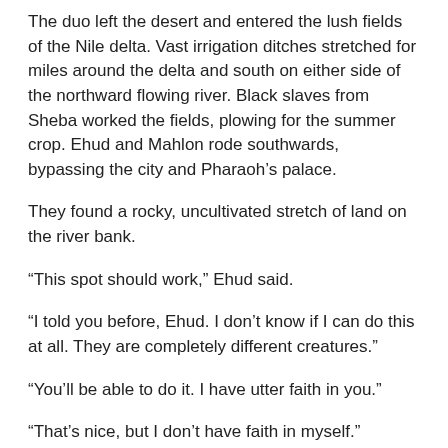The duo left the desert and entered the lush fields of the Nile delta. Vast irrigation ditches stretched for miles around the delta and south on either side of the northward flowing river. Black slaves from Sheba worked the fields, plowing for the summer crop. Ehud and Mahlon rode southwards, bypassing the city and Pharaoh’s palace.
They found a rocky, uncultivated stretch of land on the river bank.
“This spot should work,” Ehud said.
“I told you before, Ehud. I don’t know if I can do this at all. They are completely different creatures.”
“You’ll be able to do it. I have utter faith in you.”
“That’s nice, but I don’t have faith in myself.”